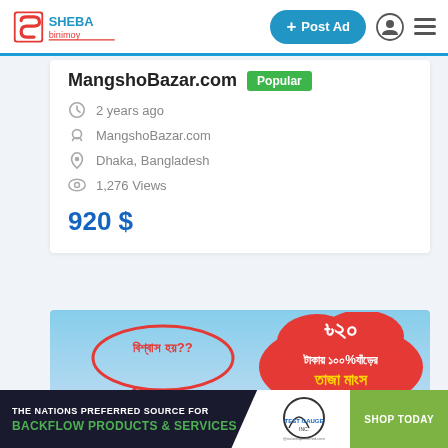Sheba Binimoy — + Post Ad
MangshoBazar.com
Popular
2 years ago
MangshoBazar.com
Dhaka, Bangladesh
1,276 Views
920 $
[Figure (photo): Advertisement banner for MangshoBazar.com showing Bengali text about 100% fresh meat for ৳20, with speech bubble saying 'বিশ্বাস হয়??' (Do you believe??)]
[Figure (other): Bottom advertisement banner: THE NATIONS PREFERRED SOURCE FOR BACKFLOW PRODUCTS & SERVICES — Test Gauge Inc. — SHOP TODAY]